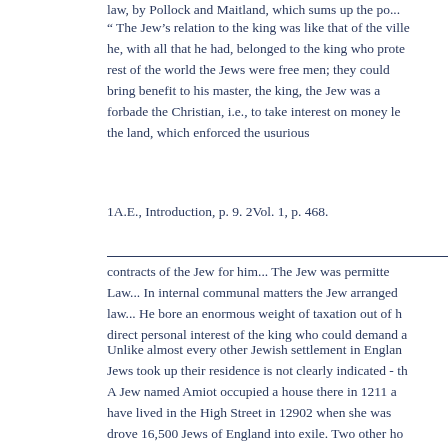law, by Pollock and Maitland, which sums up the po...
" The Jew's relation to the king was like that of the ville... he, with all that he had, belonged to the king who prote... rest of the world the Jews were free men; they could... bring benefit to his master, the king, the Jew was a... forbade the Christian, i.e., to take interest on money le... the land, which enforced the usurious
1A.E., Introduction, p. 9. 2Vol. 1, p. 468.
contracts of the Jew for him... The Jew was permitte... Law... In internal communal matters the Jew arranged ... law... He bore an enormous weight of taxation out of h... direct personal interest of the king who could demand a...
Unlike almost every other Jewish settlement in Englan... Jews took up their residence is not clearly indicated - th... A Jew named Amiot occupied a house there in 1211 a... have lived in the High Street in 12902 when she was... drove 16,500 Jews of England into exile. Two other ho... the city in 1280 (see page 237) but their locality is n... community with a Synagogue - location unknown - a... Precentor and its lay leaders. The law of the year 1177... the walls of the city,3 - before this date all dead bo...